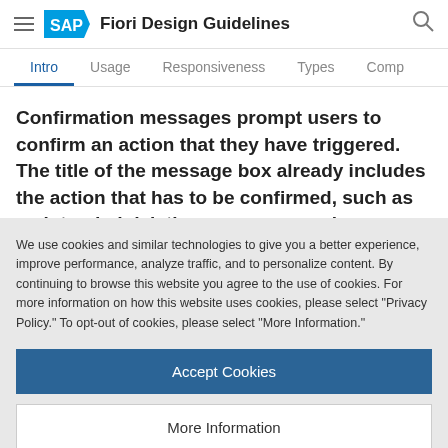SAP Fiori Design Guidelines
Intro  Usage  Responsiveness  Types  Comp
Confirmation messages prompt users to confirm an action that they have triggered. The title of the message box already includes the action that has to be confirmed, such as an intended deletion or an approval.
We use cookies and similar technologies to give you a better experience, improve performance, analyze traffic, and to personalize content. By continuing to browse this website you agree to the use of cookies. For more information on how this website uses cookies, please select “Privacy Policy.” To opt-out of cookies, please select “More Information.”
Accept Cookies
More Information
Privacy Policy | Powered by: TrustArc